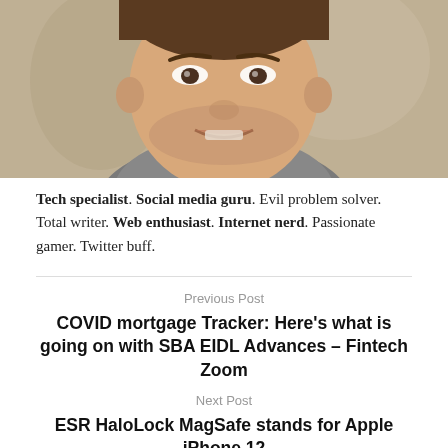[Figure (photo): Close-up photo of a young man's face, smiling slightly, with short dark hair and slight stubble, wearing a grey shirt. The background is blurred. Only the lower half of the face and neck are visible.]
Tech specialist. Social media guru. Evil problem solver. Total writer. Web enthusiast. Internet nerd. Passionate gamer. Twitter buff.
Previous Post
COVID mortgage Tracker: Here's what is going on with SBA EIDL Advances – Fintech Zoom
Next Post
ESR HaloLock MagSafe stands for Apple iPhone 12